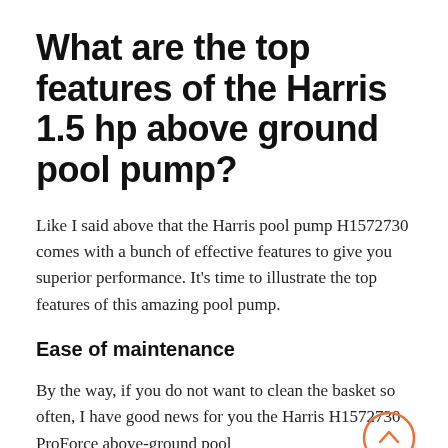What are the top features of the Harris 1.5 hp above ground pool pump?
Like I said above that the Harris pool pump H1572730 comes with a bunch of effective features to give you superior performance. It's time to illustrate the top features of this amazing pool pump.
Ease of maintenance
By the way, if you do not want to clean the basket so often, I have good news for you the Harris H1572730 ProForce above-ground pool